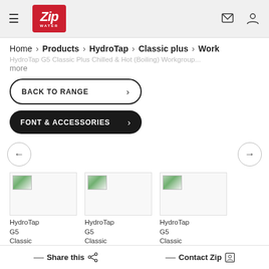[Figure (logo): Zip Water logo — red square with white italic 'Zip' text and 'WATER' below, hamburger menu icon on left, phone/contact and user icons on right]
Home > Products > HydroTap > Classic plus > Work
HydroTap G5 Classic Plus Chilled & Hot (Boiling) Workgroup... more
BACK TO RANGE
FONT & ACCESSORIES
HydroTap G5 Classic  HydroTap G5 Classic  HydroTap G5 Classic
— Share this   — Contact Zip